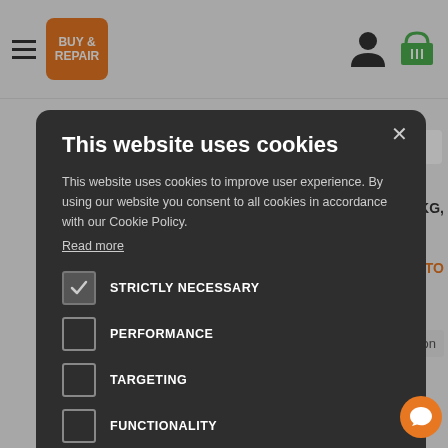[Figure (screenshot): Website header with hamburger menu, Buy & Repair logo (orange box), user icon, basket icon]
This website uses cookies
This website uses cookies to improve user experience. By using our website you consent to all cookies in accordance with our Cookie Policy.
Read more
STRICTLY NECESSARY
PERFORMANCE
TARGETING
FUNCTIONALITY
ACCEPT ALL
DECLINE ALL
SHOW DETAILS